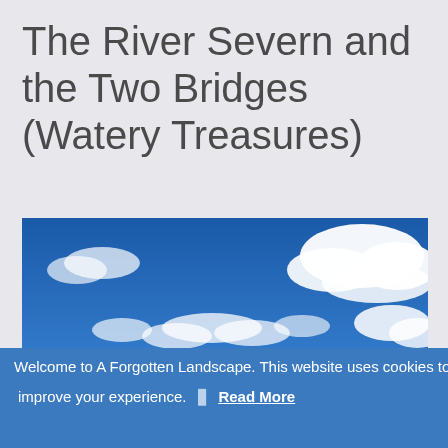The River Severn and the Two Bridges (Watery Treasures)
[Figure (photo): Photograph of blue sky with white cumulus clouds scattered across it, taken from below looking upward.]
Welcome to A Forgotten Landscape. This website uses cookies to improve your experience. Read More